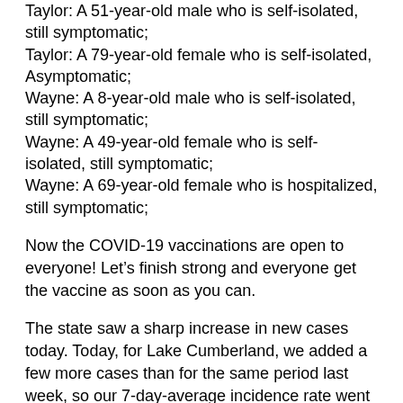Taylor: A 51-year-old male who is self-isolated, still symptomatic;
Taylor: A 79-year-old female who is self-isolated, Asymptomatic;
Wayne: A 8-year-old male who is self-isolated, still symptomatic;
Wayne: A 49-year-old female who is self-isolated, still symptomatic;
Wayne: A 69-year-old female who is hospitalized, still symptomatic;
Now the COVID-19 vaccinations are open to everyone! Let’s finish strong and everyone get the vaccine as soon as you can.
The state saw a sharp increase in new cases today. Today, for Lake Cumberland, we added a few more cases than for the same period last week, so our 7-day-average incidence rate went up slightly. Keep in mind, some of our 7-day-incidence data will be skewed over the next few days as we are reconciling our data against the state data. Our 7-day incidence chart is showing 1 county in the “green-on track”